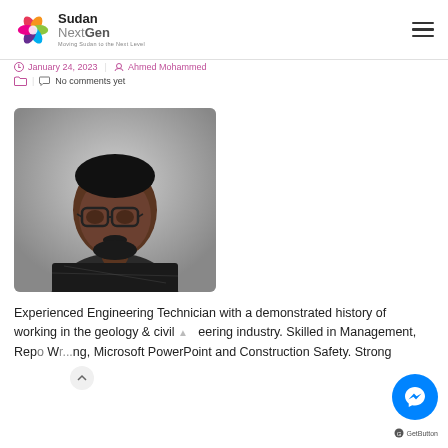Sudan NextGen — Moving Sudan to the Next Level
January 24, 2023  Ahmed Mohammed
No comments yet
[Figure (photo): Portrait photo of a man wearing glasses and a patterned shirt, against a light background]
Experienced Engineering Technician with a demonstrated history of working in the geology & civil engineering industry. Skilled in Management, Report Writing, Microsoft PowerPoint and Construction Safety. Strong